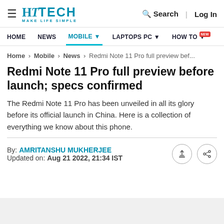HT TECH MAKE LIFE SIMPLE | Search | Log In
HOME | NEWS | MOBILE | LAPTOPS PC | HOW TO NEW
Home > Mobile > News > Redmi Note 11 Pro full preview bef...
Redmi Note 11 Pro full preview before launch; specs confirmed
The Redmi Note 11 Pro has been unveiled in all its glory before its official launch in China. Here is a collection of everything we know about this phone.
By: AMRITANSHU MUKHERJEE
Updated on: Aug 21 2022, 21:34 IST